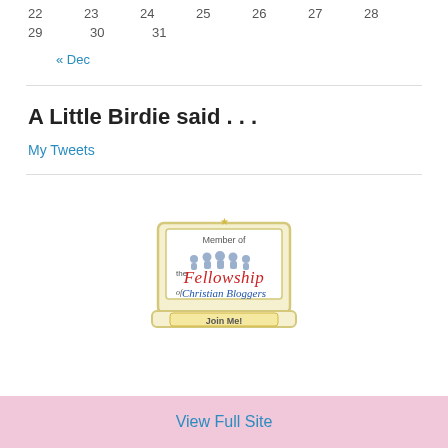| 22 | 23 | 24 | 25 | 26 | 27 | 28 |
| 29 | 30 | 31 |  |  |  |  |
« Dec
A Little Birdie said . . .
My Tweets
[Figure (logo): Fellowship of Christian Bloggers badge — 'Member of the Fellowship of Christian Bloggers, Join Me!' with laptop graphic and decorative script text]
View Full Site